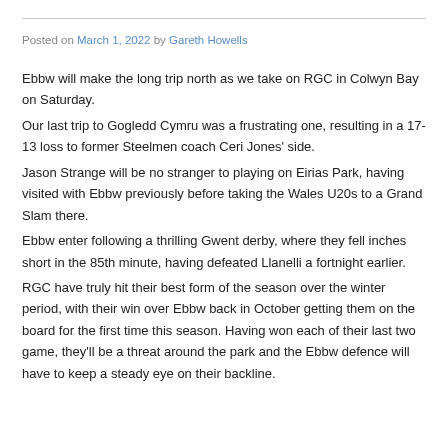Posted on March 1, 2022 by Gareth Howells
Ebbw will make the long trip north as we take on RGC in Colwyn Bay on Saturday.
Our last trip to Gogledd Cymru was a frustrating one, resulting in a 17-13 loss to former Steelmen coach Ceri Jones' side.
Jason Strange will be no stranger to playing on Eirias Park, having visited with Ebbw previously before taking the Wales U20s to a Grand Slam there.
Ebbw enter following a thrilling Gwent derby, where they fell inches short in the 85th minute, having defeated Llanelli a fortnight earlier.
RGC have truly hit their best form of the season over the winter period, with their win over Ebbw back in October getting them on the board for the first time this season. Having won each of their last two game, they'll be a threat around the park and the Ebbw defence will have to keep a steady eye on their backline.